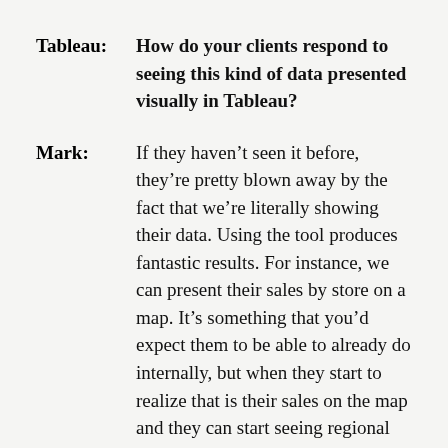Tableau: How do your clients respond to seeing this kind of data presented visually in Tableau?
Mark: If they haven't seen it before, they're pretty blown away by the fact that we're literally showing their data. Using the tool produces fantastic results. For instance, we can present their sales by store on a map. It's something that you'd expect them to be able to already do internally, but when they start to realize that is their sales on the map and they can start seeing regional patterns, they think it's fantastic. We're able to bring